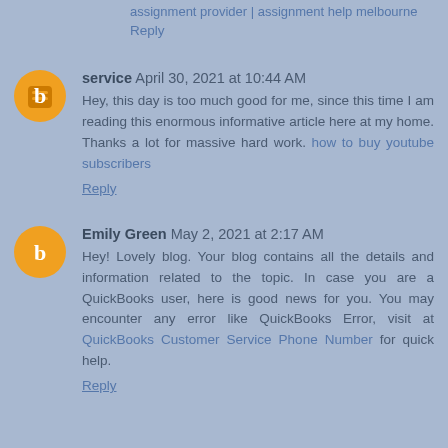assignment provider | assignment help melbourne
Reply
service April 30, 2021 at 10:44 AM
Hey, this day is too much good for me, since this time I am reading this enormous informative article here at my home. Thanks a lot for massive hard work. how to buy youtube subscribers
Reply
Emily Green May 2, 2021 at 2:17 AM
Hey! Lovely blog. Your blog contains all the details and information related to the topic. In case you are a QuickBooks user, here is good news for you. You may encounter any error like QuickBooks Error, visit at QuickBooks Customer Service Phone Number for quick help.
Reply